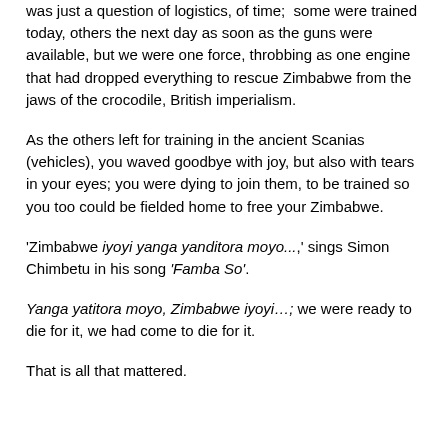was just a question of logistics, of time;  some were trained today, others the next day as soon as the guns were available, but we were one force, throbbing as one engine that had dropped everything to rescue Zimbabwe from the jaws of the crocodile, British imperialism.
As the others left for training in the ancient Scanias (vehicles), you waved goodbye with joy, but also with tears in your eyes; you were dying to join them, to be trained so you too could be fielded home to free your Zimbabwe.
'Zimbabwe iyoyi yanga yanditora moyo...,' sings Simon Chimbetu in his song 'Famba So'.
Yanga yatitora moyo, Zimbabwe iyoyi…; we were ready to die for it, we had come to die for it.
That is all that mattered.